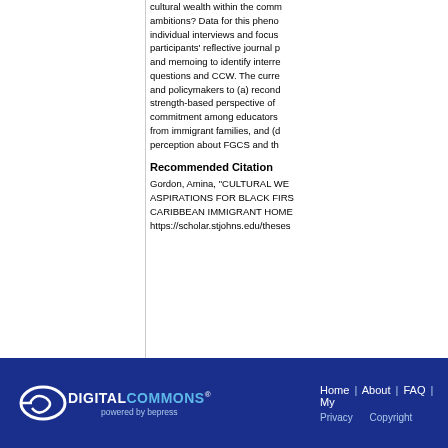cultural wealth within the comm ambitions? Data for this pheno individual interviews and focus participants' reflective journal p and memoing to identify interre questions and CCW. The curre and policymakers to (a) recond strength-based perspective of commitment among educators from immigrant families, and (d perception about FGCS and th
Recommended Citation
Gordon, Amina, "CULTURAL WE ASPIRATIONS FOR BLACK FIRS CARIBBEAN IMMIGRANT HOME https://scholar.stjohns.edu/theses
DIGITAL COMMONS powered by bepress | Home | About | FAQ | My | Privacy | Copyright